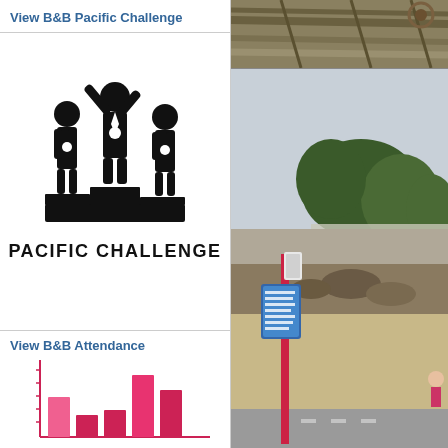View B&B Pacific Challenge
[Figure (logo): Pacific Challenge logo: three business figures on a podium, center figure arms raised with medal]
PACIFIC CHALLENGE
View B&B Attendance
[Figure (bar-chart): Bar chart with 5 pink/red bars of varying heights showing attendance data]
[Figure (photo): Two photographs on the right side: top photo shows closeup of wooden boards/fence, bottom photo shows a beach scene with a red post/sign, sandy beach, rocks, trees and overcast sky]